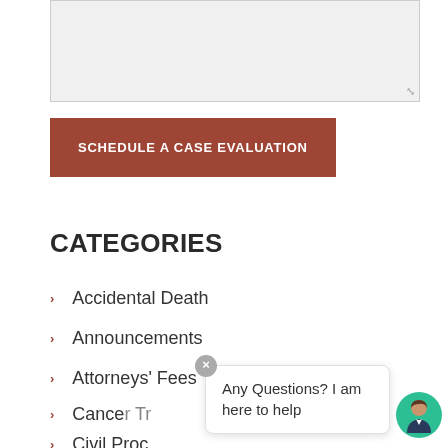[Figure (screenshot): Gray textarea input box with resize handle in bottom-right corner]
SCHEDULE A CASE EVALUATION
CATEGORIES
Accidental Death
Announcements
Attorneys' Fees
Cancer Tr...
Civil Proc...
Any Questions? I am here to help